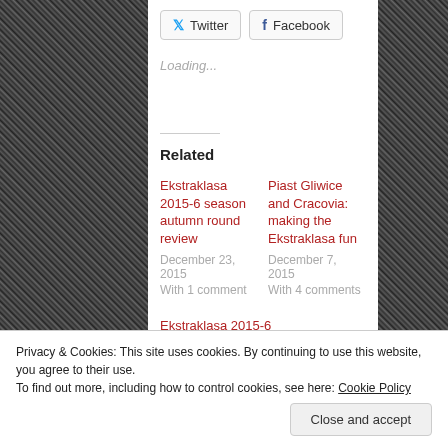[Figure (photo): Black and white photo of stadium crowd on left side background]
[Figure (photo): Black and white photo of stadium crowd on right side background]
Twitter
Facebook
Loading...
Related
Ekstraklasa 2015-6 season autumn round review
December 23, 2015
With 1 comment
Piast Gliwice and Cracovia: making the Ekstraklasa fun
December 7, 2015
With 4 comments
Ekstraklasa 2015-6
Privacy & Cookies: This site uses cookies. By continuing to use this website, you agree to their use.
To find out more, including how to control cookies, see here: Cookie Policy
Close and accept